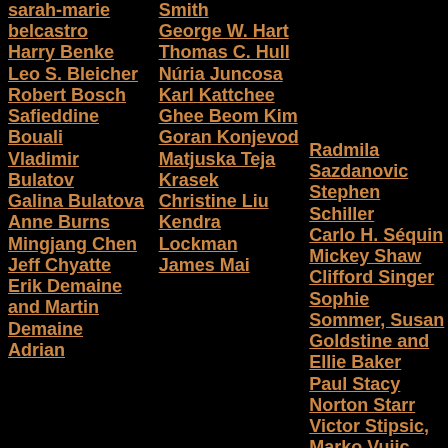sarah-marie belcastro
Harry Benke
Leo S. Bleicher
Robert Bosch
Safieddine Bouali
Vladimir Bulatov
Galina Bulatova
Anne Burns
Mingjang Chen
Jeff Chyatte
Erik Demaine and Martin Demaine
Adrian ...
Smith
George W. Hart
Thomas C. Hull
Núria Juncosa
Karl Kattchee
Ghee Beom Kim
Goran Konjevod
Matjuska Teja Krasek
Christine Liu
Kendra Lockman
James Mai
Radmila Sazdanovic
Stephen Schiller
Carlo H. Séquin
Mickey Shaw
Clifford Singer
Sophie Sommer, Susan Goldstine and Ellie Baker
Paul Stacy
Norton Starr
Victor Stipsic, Marko Vujic, and Radmila Sazdanovic
Dick A. Termes
Briony Thomas
Eve Torrence